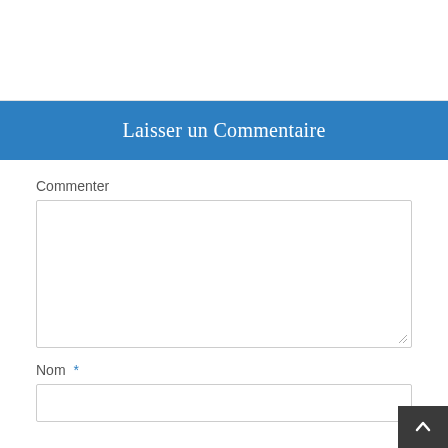Laisser un Commentaire
Commenter
Nom *